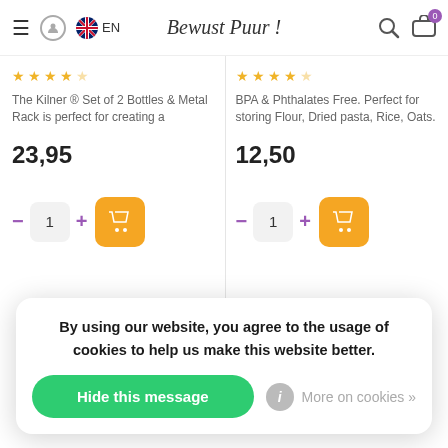Bewust Puur! EN
The Kilner ® Set of 2 Bottles & Metal Rack is perfect for creating a
23,95
BPA & Phthalates Free. Perfect for storing Flour, Dried pasta, Rice, Oats.
12,50
By using our website, you agree to the usage of cookies to help us make this website better.
Hide this message
More on cookies »